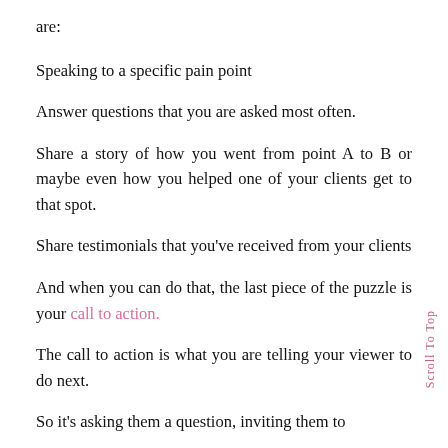are:
Speaking to a specific pain point
Answer questions that you are asked most often.
Share a story of how you went from point A to B or maybe even how you helped one of your clients get to that spot.
Share testimonials that you’ve received from your clients
And when you can do that, the last piece of the puzzle is your call to action.
The call to action is what you are telling your viewer to do next.
So it’s asking them a question, inviting them to